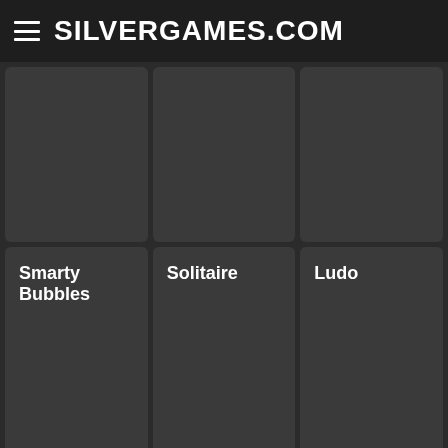SILVERGAMES.COM
[Figure (screenshot): Game thumbnail placeholder (top-left, no label)]
[Figure (screenshot): Game thumbnail placeholder (top-center, no label)]
[Figure (screenshot): Game thumbnail placeholder (top-right, no label)]
Smarty Bubbles
Solitaire
Ludo
Connect 4
Bouncing Balls
Bricks Breaking